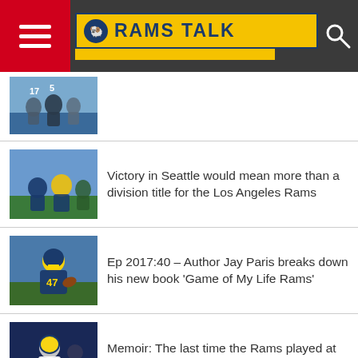Rams Talk
[Figure (photo): Football players on field - thumbnail image]
[Figure (photo): Rams vs Seahawks football game action photo]
Victory in Seattle would mean more than a division title for the Los Angeles Rams
[Figure (photo): Rams player number 47 running with football]
Ep 2017:40 – Author Jay Paris breaks down his new book 'Game of My Life Rams'
[Figure (photo): Rams player running with football at night game]
Memoir: The last time the Rams played at the N.Y. Giants